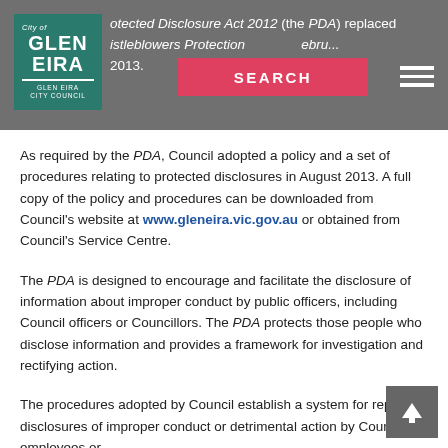[Figure (logo): City of Glen Eira City Council logo — teal square with white text]
otected Disclosure Act 2012 (the PDA) replaced whistleblowers Protection ... February 2013.
[Figure (other): Red SEARCH button overlay]
As required by the PDA, Council adopted a policy and a set of procedures relating to protected disclosures in August 2013. A full copy of the policy and procedures can be downloaded from Council's website at www.gleneira.vic.gov.au or obtained from Council's Service Centre.
The PDA is designed to encourage and facilitate the disclosure of information about improper conduct by public officers, including Council officers or Councillors. The PDA protects those people who disclose information and provides a framework for investigation and rectifying action.
The procedures adopted by Council establish a system for reporting disclosures of improper conduct or detrimental action by Council, its employees or